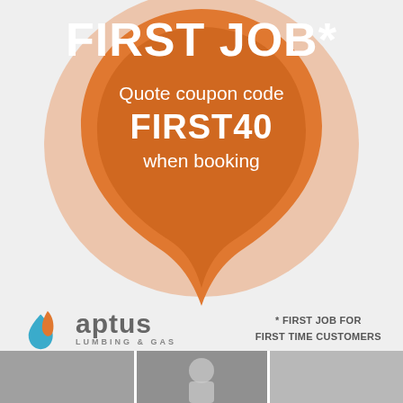[Figure (illustration): Orange heart/location-pin shape forming the background of the promotional coupon text]
FIRST JOB*
Quote coupon code FIRST40 when booking
[Figure (logo): Aptus Plumbing & Gas logo with orange and blue flame/water droplet icon]
* FIRST JOB FOR FIRST TIME CUSTOMERS
[Figure (photo): Photo strip at the bottom showing plumbers/vans]